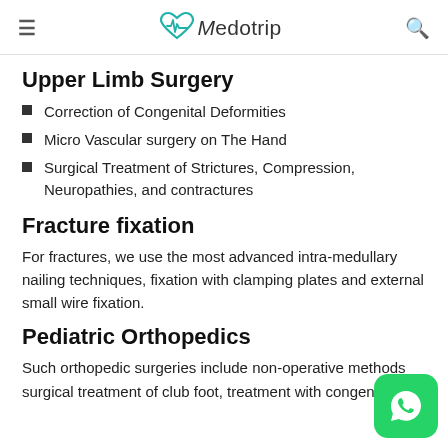Medotrip
Upper Limb Surgery
Correction of Congenital Deformities
Micro Vascular surgery on The Hand
Surgical Treatment of Strictures, Compression, Neuropathies, and contractures
Fracture fixation
For fractures, we use the most advanced intra-medullary nailing techniques, fixation with clamping plates and external small wire fixation.
Pediatric Orthopedics
Such orthopedic surgeries include non-operative methods surgical treatment of club foot, treatment with congenital...